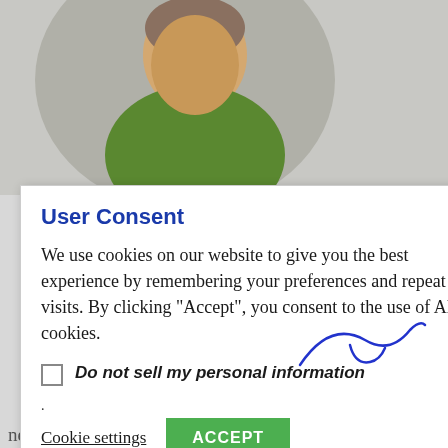[Figure (photo): Photo of a young man in a green sweater looking down, circular crop, against a light gray background]
User Consent
We use cookies on our website to give you the best experience by remembering your preferences and repeat visits. By clicking “Accept”, you consent to the use of ALL cookies.
Do not sell my personal information
.
Cookie settings   ACCEPT
English
never gets easier with LearnPress.”